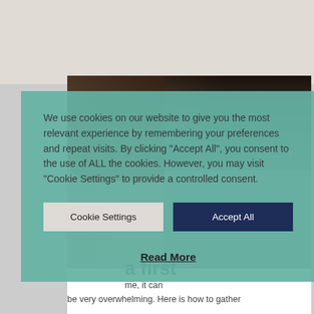[Figure (photo): Two people (a woman and a man with glasses) visible behind a cookie consent overlay. Background shows partial view of a webpage about buying a first home.]
We use cookies on our website to give you the most relevant experience by remembering your preferences and repeat visits. By clicking “Accept All”, you consent to the use of ALL the cookies. However, you may visit "Cookie Settings" to provide a controlled consent.
Cookie Settings
Accept All
Read More
a first
me, it can
be very overwhelming. Here is how to gather